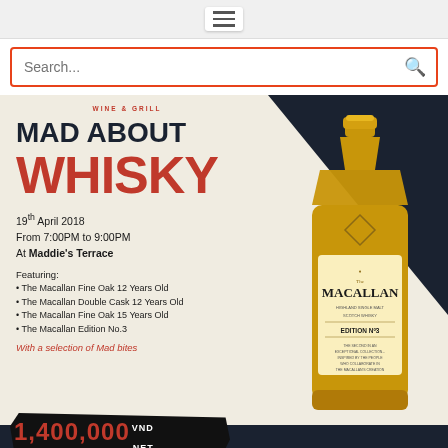[Figure (screenshot): Navigation hamburger menu icon on grey background]
[Figure (screenshot): Search bar with orange/red border, placeholder text 'Search...' and magnifying glass icon]
WINE & GRILL
MAD ABOUT WHISKY
19th April 2018
From 7:00PM to 9:00PM
At Maddie's Terrace
Featuring:
The Macallan Fine Oak 12 Years Old
The Macallan Double Cask 12 Years Old
The Macallan Fine Oak 15 Years Old
The Macallan Edition No.3
With a selection of Mad bites
[Figure (photo): Bottle of The Macallan Edition No.3 Highland Single Malt Scotch Whisky with golden amber color and distinctive label]
1,400,000 VND NET